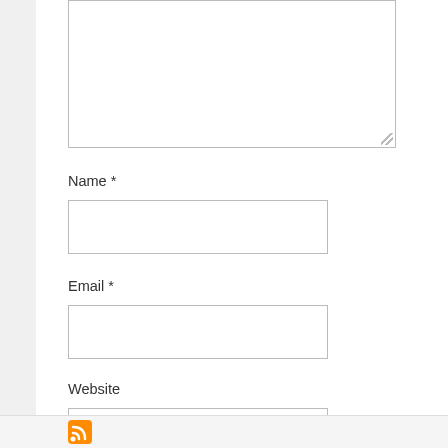Name *
Email *
Website
Save my name, email, and website in this browser for the next time I c
Post Comment
This site uses Akismet to reduce spam. Learn how your c